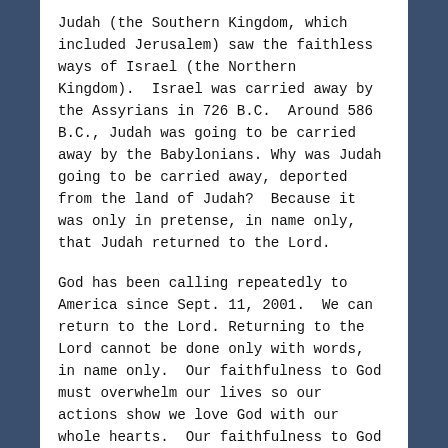Judah (the Southern Kingdom, which included Jerusalem) saw the faithless ways of Israel (the Northern Kingdom). Israel was carried away by the Assyrians in 726 B.C. Around 586 B.C., Judah was going to be carried away by the Babylonians. Why was Judah going to be carried away, deported from the land of Judah? Because it was only in pretense, in name only, that Judah returned to the Lord.
God has been calling repeatedly to America since Sept. 11, 2001. We can return to the Lord. Returning to the Lord cannot be done only with words, in name only. Our faithfulness to God must overwhelm our lives so our actions show we love God with our whole hearts. Our faithfulness to God can be seen in how we love